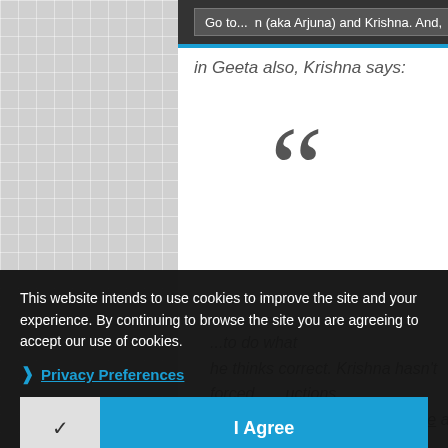Go to... n (aka Arjuna) and Krishna. And, in Geeta also, Krishna says:
[Figure (illustration): Large decorative opening quotation mark (double curly quotes) in dark grey, displayed large in the center of a white content card area.]
...to do what he thinks correct. Krishna hasn't forced... ...uctions. It was Arjuna who had to decide and follow...
This website intends to use cookies to improve the site and your experience. By continuing to browse the site you are agreeing to accept our use of cookies.
Privacy Preferences
I Agree